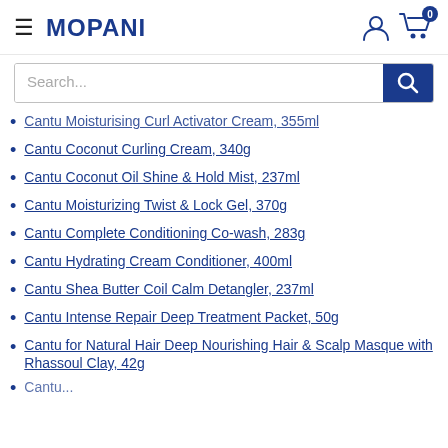MOPANI
Cantu Moisturising Curl Activator Cream, 355ml
Cantu Coconut Curling Cream, 340g
Cantu Coconut Oil Shine & Hold Mist, 237ml
Cantu Moisturizing Twist & Lock Gel, 370g
Cantu Complete Conditioning Co-wash, 283g
Cantu Hydrating Cream Conditioner, 400ml
Cantu Shea Butter Coil Calm Detangler, 237ml
Cantu Intense Repair Deep Treatment Packet, 50g
Cantu for Natural Hair Deep Nourishing Hair & Scalp Masque with Rhassoul Clay, 42g